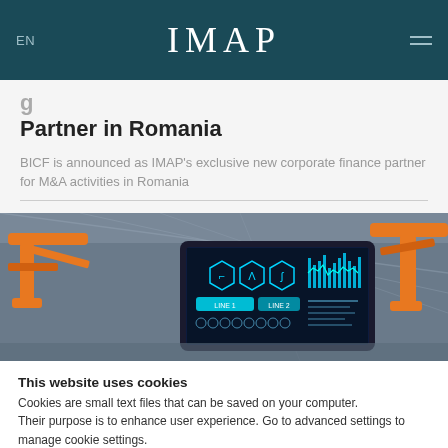EN  IMAP
Partner in Romania
BICF is announced as IMAP's exclusive new corporate finance partner for M&A activities in Romania
[Figure (photo): Industrial factory scene with orange robotic arms and a tablet displaying a digital dashboard interface with blue HUD-style graphics]
This website uses cookies
Cookies are small text files that can be saved on your computer.
Their purpose is to enhance user experience. Go to advanced settings to manage cookie settings.
Cookie settings   Accept all cookies